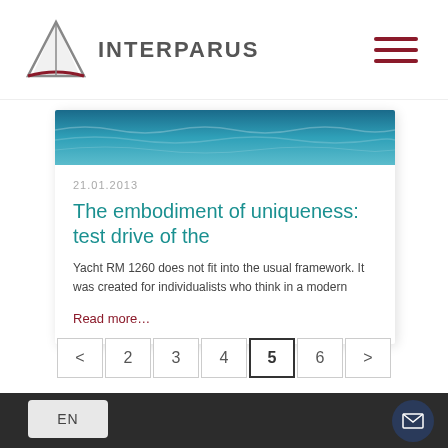[Figure (logo): Interparus logo with sailboat triangle graphic and company name INTERPARUS in gray bold letters]
[Figure (other): Hamburger menu icon — three dark red horizontal lines]
[Figure (photo): Ocean/sea water photo used as card header image]
21.01.2013
The embodiment of uniqueness: test drive of the
Yacht RM 1260 does not fit into the usual framework. It was created for individualists who think in a modern
Read more…
[Figure (other): Pagination control: < 2 3 4 5(active) 6 >]
EN
[Figure (other): Email/envelope contact button circle]